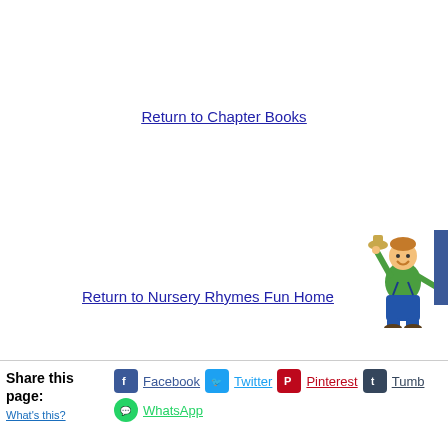Return to Chapter Books
Return to Nursery Rhymes Fun Home
[Figure (illustration): Cartoon boy in green shirt and blue overalls, holding a hat, pointing to the right]
Share this page:
What's this?
Facebook
Twitter
Pinterest
Tumblr
WhatsApp